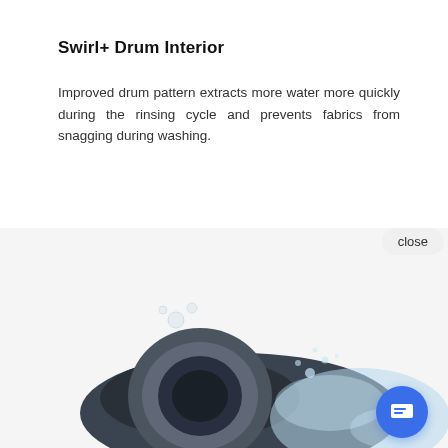Swirl+ Drum Interior
Improved drum pattern extracts more water more quickly during the rinsing cycle and prevents fabrics from snagging during washing.
[Figure (screenshot): Bottom half shows a washing machine drum with water splashing, overlaid with a live chat popup widget. The popup features a circular avatar of a woman, the text 'Hi there, have a question? Text us here.', a 'close' button, and a blue circular chat icon button at the bottom right.]